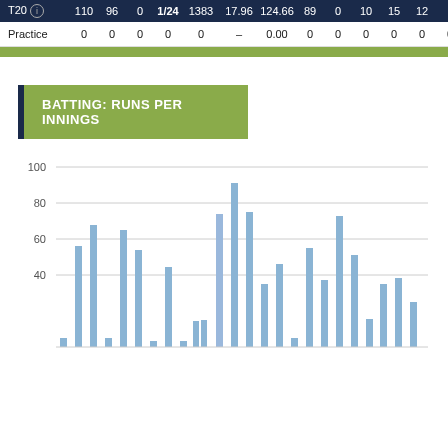| Format |  |  |  |  |  |  |  |  |  |  |  |  |
| --- | --- | --- | --- | --- | --- | --- | --- | --- | --- | --- | --- | --- |
| T20 | 110 | 96 | 0 | 1/24 | 1383 | 17.96 | 124.66 | 89 | 0 | 10 | 15 | 12 |
| Practice | 0 | 0 | 0 | 0 | 0 | – | 0.00 | 0 | 0 | 0 | 0 | 0 | 0 |
BATTING: RUNS PER INNINGS
[Figure (bar-chart): Bar chart showing runs per innings over multiple innings, with values ranging from near 0 to approximately 91]